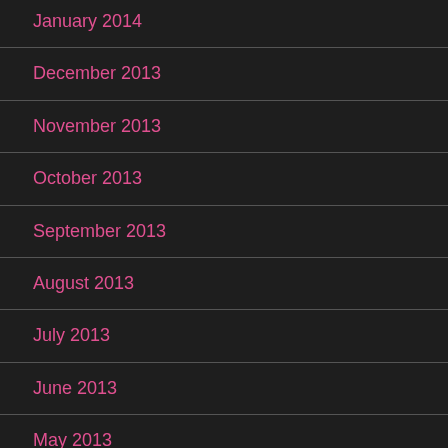January 2014
December 2013
November 2013
October 2013
September 2013
August 2013
July 2013
June 2013
May 2013